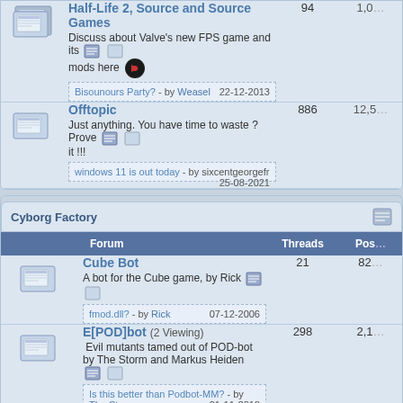|  | Forum | Threads | Posts |
| --- | --- | --- | --- |
| [icon] | Half-Life 2, Source and Source Games
Discuss about Valve's new FPS game and its mods here
Bisounours Party? - by Weasel  22-12-2013 | 94 | 1,0... |
| [icon] | Offtopic
Just anything. You have time to waste ? Prove it !!!
windows 11 is out today - by sixcentgeorgefr  25-08-2021 | 886 | 12,5... |
Cyborg Factory
|  | Forum | Threads | Posts |
| --- | --- | --- | --- |
| [icon] | Cube Bot
A bot for the Cube game, by Rick
fmod.dll? - by Rick  07-12-2006 | 21 | 82... |
| [icon] | E[POD]bot (2 Viewing)
Evil mutants tamed out of POD-bot by The Storm and Markus Heiden
Is this better than Podbot-MM? - by The Storm  21-11-2018 | 298 | 2,1... |
| [icon] | FritzBot
A bot for Return To Castle Wolfenstein - by |  |  |